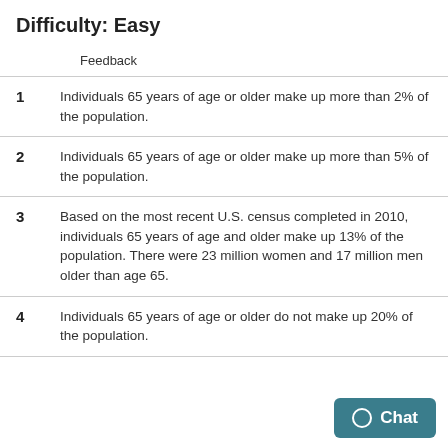Difficulty: Easy
Feedback
Individuals 65 years of age or older make up more than 2% of the population.
Individuals 65 years of age or older make up more than 5% of the population.
Based on the most recent U.S. census completed in 2010, individuals 65 years of age and older make up 13% of the population. There were 23 million women and 17 million men older than age 65.
Individuals 65 years of age or older do not make up 20% of the population.